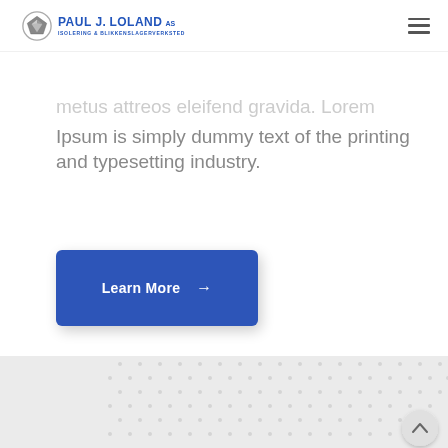[Figure (logo): Paul J. Loland AS logo with diamond shape icon and text ISOLERING & BLIKKENSLAGERVERKSTED]
metus attreos eleifend gravida. Lorem Ipsum is simply dummy text of the printing and typesetting industry.
Learn More →
[Figure (other): Light grey section with dot pattern background and scroll-to-top button]